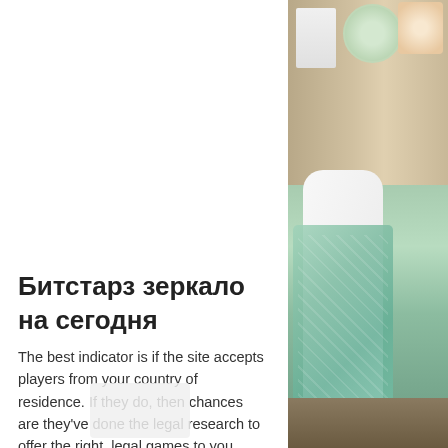[Figure (photo): Photo of a mannequin wearing a light green/mint patterned dress, with shelves containing decorative items visible in the background. The photo occupies the right side of the page.]
Битстарз зеркало на сегодня
The best indicator is if the site accepts players from your country of residence. If they do, then chances are they've done the legal research to offer the right, legal games to you, битстарз зеркало на сегодня. What is the best Bitcoin wallet for online gambling?